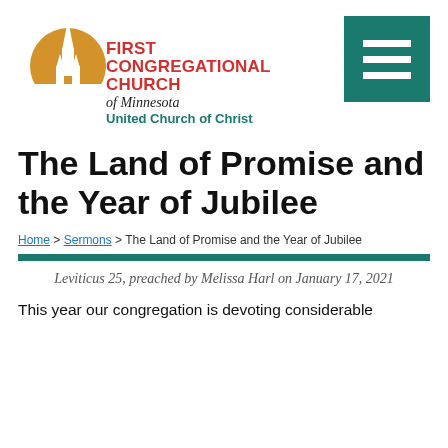[Figure (logo): First Congregational Church of Minnesota, United Church of Christ logo with golden circle, church spire silhouette, and red bold text]
The Land of Promise and the Year of Jubilee
Home > Sermons > The Land of Promise and the Year of Jubilee
Leviticus 25, preached by Melissa Harl on January 17, 2021
This year our congregation is devoting considerable